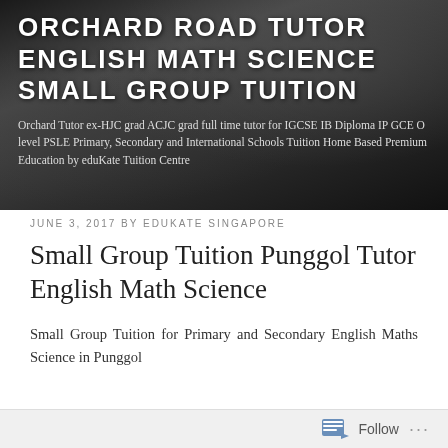[Figure (photo): Black and white photo of students studying, used as website header banner background]
ORCHARD ROAD TUTOR ENGLISH MATH SCIENCE SMALL GROUP TUITION
Orchard Tutor ex-HJC grad ACJC grad full time tutor for IGCSE IB Diploma IP GCE O level PSLE Primary, Secondary and International Schools Tuition Home Based Premium Education by eduKate Tuition Centre
JUNE 3, 2017 BY EDUKATE SINGAPORE
Small Group Tuition Punggol Tutor English Math Science
Small Group Tuition for Primary and Secondary English Maths Science in Punggol